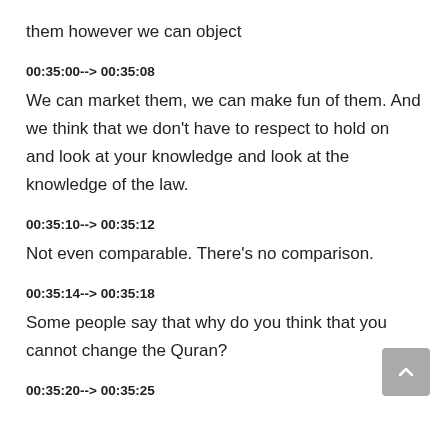them however we can object
00:35:00--> 00:35:08
We can market them, we can make fun of them. And we think that we don't have to respect to hold on and look at your knowledge and look at the knowledge of the law.
00:35:10--> 00:35:12
Not even comparable. There's no comparison.
00:35:14--> 00:35:18
Some people say that why do you think that you cannot change the Quran?
00:35:20--> 00:35:25